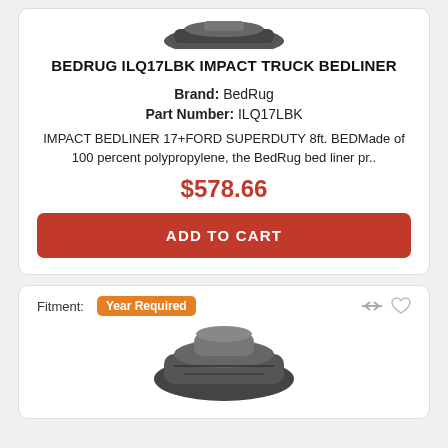BEDRUG ILQ17LBK IMPACT TRUCK BEDLINER
Brand: BedRug
Part Number: ILQ17LBK
IMPACT BEDLINER 17+FORD SUPERDUTY 8ft. BEDMade of 100 percent polypropylene, the BedRug bed liner pr..
$578.66
ADD TO CART
Fitment: Year Required